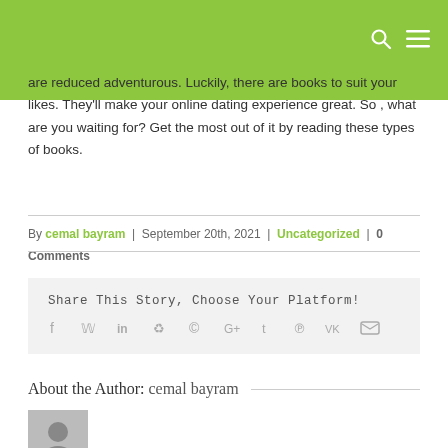are reduced adventurous. Luckily, there are books to suit your likes. They'll make your online dating experience great. So , what are you waiting for? Get the most out of it by reading these types of books.
By cemal bayram | September 20th, 2021 | Uncategorized | 0 Comments
Share This Story, Choose Your Platform!
[Figure (infographic): Social media sharing icons: facebook, twitter, linkedin, reddit, whatsapp, google+, tumblr, pinterest, vk, email]
About the Author: cemal bayram
[Figure (photo): Circular avatar placeholder with person silhouette on grey background]